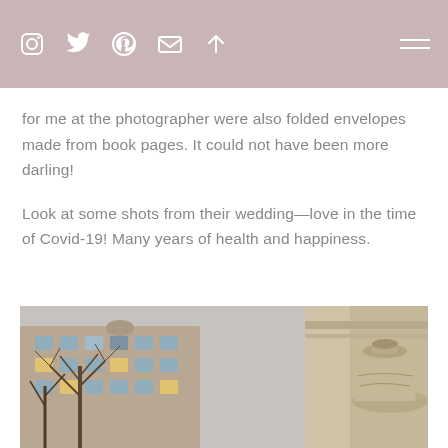[social icons: Instagram, Twitter, Pinterest, Email, Arrow-up] [hamburger menu]
for me at the photographer were also folded envelopes made from book pages. It could not have been more darling!
Look at some shots from their wedding—love in the time of Covid-19! Many years of health and happiness.
[Figure (photo): Outdoor photo showing urban buildings and bare trees on the left side, and a classical stone architectural element (large decorative urn on a column) on the right side. The image has a warm, slightly golden tone.]